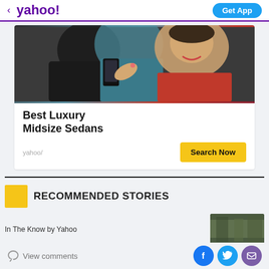< yahoo!   Get App
[Figure (photo): Two people looking at a phone — a man in a dark jacket and a woman in red dress smiling]
Best Luxury Midsize Sedans
yahoo/
Search Now
RECOMMENDED STORIES
In The Know by Yahoo
View comments